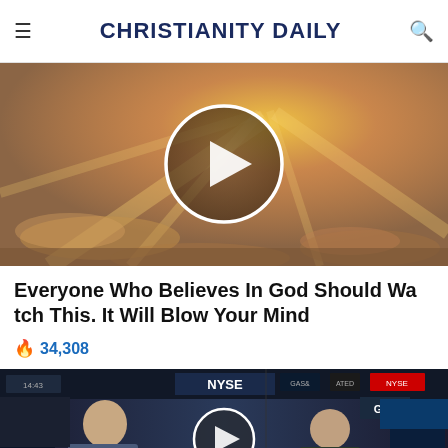CHRISTIANITY DAILY
[Figure (screenshot): Video thumbnail showing sunbeams breaking through golden clouds with a white circular play button overlay]
Everyone Who Believes In God Should Watch This. It Will Blow Your Mind
🔥 34,308
[Figure (screenshot): Video thumbnail showing NYSE trading floor with people and screens visible, a circular play button overlay, and a close/X button at bottom center]